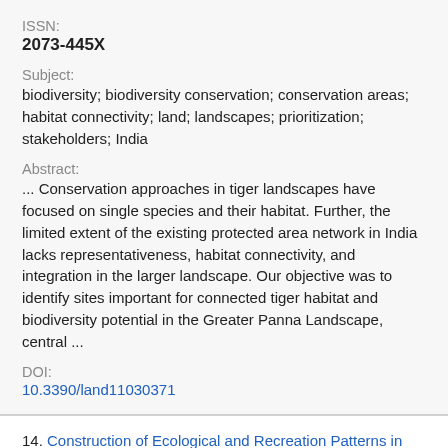ISSN:
2073-445X
Subject:
biodiversity; biodiversity conservation; conservation areas; habitat connectivity; land; landscapes; prioritization; stakeholders; India
Abstract:
... Conservation approaches in tiger landscapes have focused on single species and their habitat. Further, the limited extent of the existing protected area network in India lacks representativeness, habitat connectivity, and integration in the larger landscape. Our objective was to identify sites important for connected tiger habitat and biodiversity potential in the Greater Panna Landscape, central ...
DOI:
10.3390/land11030371
14. Construction of Ecological and Recreation Patterns in